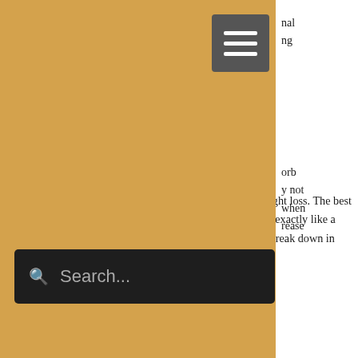[Figure (screenshot): Navigation overlay panel with golden/tan background color covering left portion of page, containing a hamburger menu icon button (dark gray) and a search bar (dark/black background with search icon and placeholder text 'Search...')]
...sues, you'll need a product specifically designed for weight loss. The best example would be an elimination diet, which is designed exactly like a normal diet to eliminate everything that your body can't break down in time.
The elimination diet would include the following:
No fiber